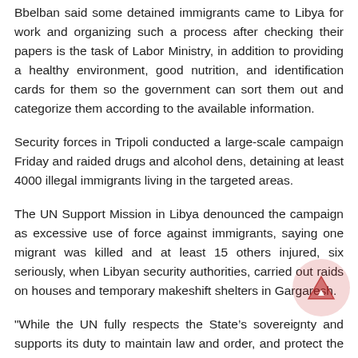Bbelban said some detained immigrants came to Libya for work and organizing such a process after checking their papers is the task of Labor Ministry, in addition to providing a healthy environment, good nutrition, and identification cards for them so the government can sort them out and categorize them according to the available information.
Security forces in Tripoli conducted a large-scale campaign Friday and raided drugs and alcohol dens, detaining at least 4000 illegal immigrants living in the targeted areas.
The UN Support Mission in Libya denounced the campaign as excessive use of force against immigrants, saying one migrant was killed and at least 15 others injured, six seriously, when Libyan security authorities, carried out raids on houses and temporary makeshift shelters in Gargaresh.
"While the UN fully respects the State’s sovereignty and supports its duty to maintain law and order, and protect the security of their population, it calls on State authorities to respect all time the human rights...